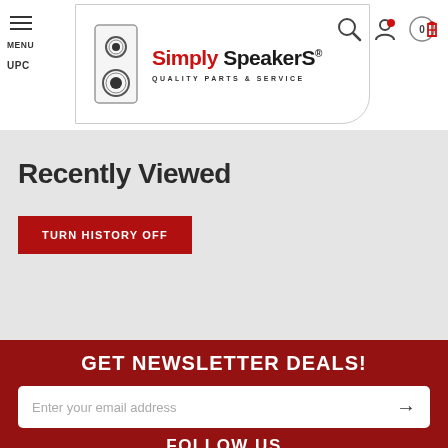Simply Speakers — Quality Parts & Service
Recently Viewed
TURN HISTORY OFF
GET NEWSLETTER DEALS!
Enter your email address
FOLLOW US